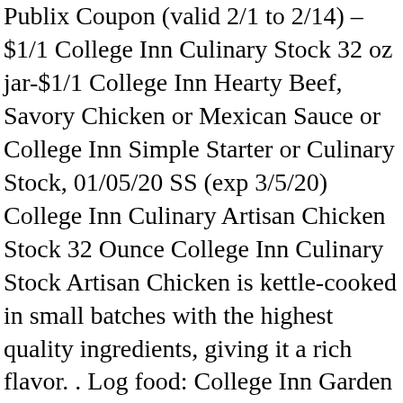Publix Coupon (valid 2/1 to 2/14) –$1/1 College Inn Culinary Stock 32 oz jar-$1/1 College Inn Hearty Beef, Savory Chicken or Mexican Sauce or College Inn Simple Starter or Culinary Stock, 01/05/20 SS (exp 3/5/20) College Inn Culinary Artisan Chicken Stock 32 Ounce College Inn Culinary Stock Artisan Chicken is kettle-cooked in small batches with the highest quality ingredients, giving it a rich flavor. . Log food: College Inn Garden Vegetable Broth. Discover the amazing flavor of College Inn® culinary broths, stocks and simple starters. Enhance the flavor of all your favorite dishes, such as soups, stews, roast beef, and more by adding our Culinary Stock. Anyone used these yet and care to share a review? Website. Disabling it will result in some disabled or missing features. If you have wanted to try the new College Inn Culinary Stock, this is a great week to check it out. There's a problem loading this menu right now. So delicious! When used in a simple soup the flavor left a bad after taste on the palate. 1 cup. I have